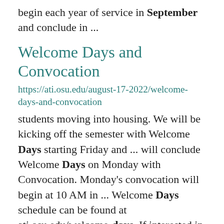begin each year of service in September and conclude in ...
Welcome Days and Convocation
https://ati.osu.edu/august-17-2022/welcome-days-and-convocation
students moving into housing. We will be kicking off the semester with Welcome Days starting Friday and ... will conclude Welcome Days on Monday with Convocation. Monday's convocation will begin at 10 AM in ... Welcome Days schedule can be found at ati.osu.edu/welcome-days. If interested in volunteering, please ...